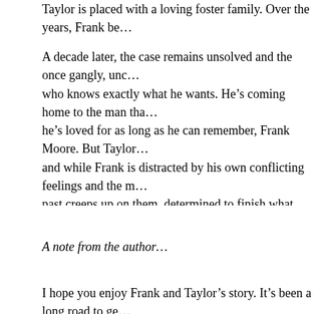Taylor is placed with a loving foster family. Over the years, Frank be…
A decade later, the case remains unsolved and the once gangly, unc… who knows exactly what he wants. He’s coming home to the man tha… he’s loved for as long as he can remember, Frank Moore. But Taylor … and while Frank is distracted by his own conflicting feelings and the … past creeps up on them, determined to finish what was started ten ye…
A note from the author…
I hope you enjoy Frank and Taylor’s story. It’s been a long road to ge… this story has taken them. When I started this book, the intent was to… changed. Characters continually evolve throughout the writing proce… book that want to tell their story. I’ve grown especially fond of Rory a… take us back to when he first joined the Bureau, and continue on to h…
Continue reading →
Categories: 5 Star Ratings, Audio Review, LGBT, Morgan's Review… audio book, College, Coming-of-Age, Contemporary, Cop/Crime, H… Location - New England, M/M, May/December, Moderate Heat, my… slow burn, Survivor, T.M. Smith, The Blogger Girls | Leave a comme…